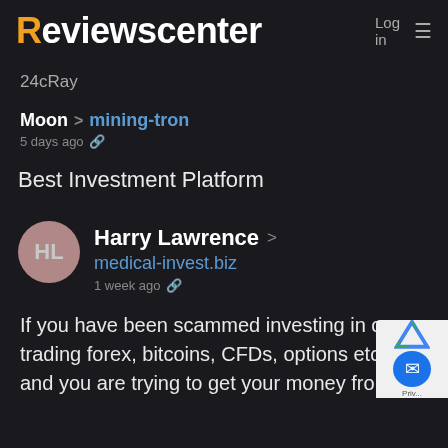Reviewscenter  Log in  ≡
24cRay
Moon > mining-tron
5 days ago 🔗
Best Investment Platform
Harry Lawrence > medical-invest.biz
1 week ago 🔗
If you have been scammed investing in or trading forex, bitcoins, CFDs, options etc and you are trying to get your money from them